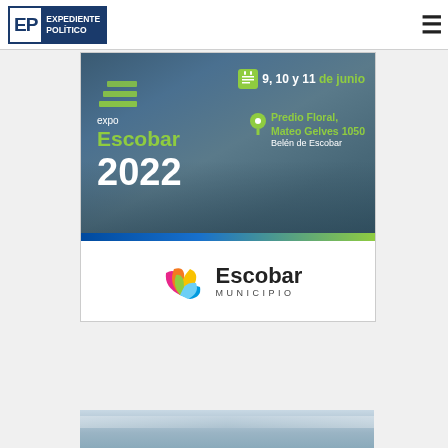[Figure (logo): Expediente Político logo with EP initials in blue border and blue background text block]
[Figure (illustration): Expo Escobar 2022 advertisement banner. Event dates: 9, 10 y 11 de junio. Location: Predio Floral, Mateo Gelves 1050, Belén de Escobar. Shows expo logo and people walking in background.]
[Figure (logo): Escobar Municipio logo with colorful leaf/hand icon and text Escobar MUNICIPIO]
[Figure (photo): Partial photo visible at bottom edge of page, appears to be sky/clouds]